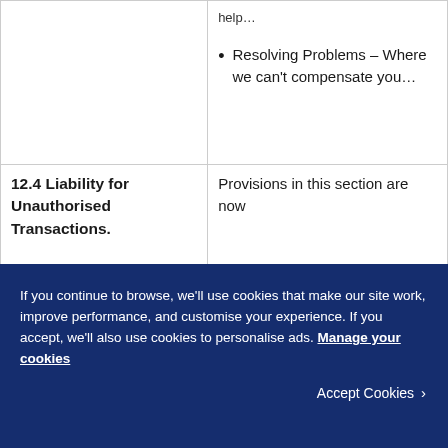Resolving Problems – Where we can't compensate you...
|  | • Resolving Problems – Where we can't compensate you... |
| 12.4 Liability for Unauthorised Transactions. | Provisions in this section are now |
If you continue to browse, we'll use cookies that make our site work, improve performance, and customise your experience. If you accept, we'll also use cookies to personalise ads. Manage your cookies
Accept Cookies ›